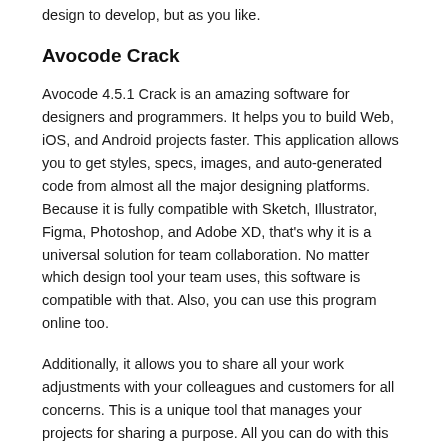design to develop, but as you like.
Avocode Crack
Avocode 4.5.1 Crack is an amazing software for designers and programmers. It helps you to build Web, iOS, and Android projects faster. This application allows you to get styles, specs, images, and auto-generated code from almost all the major designing platforms. Because it is fully compatible with Sketch, Illustrator, Figma, Photoshop, and Adobe XD, that’s why it is a universal solution for team collaboration. No matter which design tool your team uses, this software is compatible with that. Also, you can use this program online too.
Additionally, it allows you to share all your work adjustments with your colleagues and customers for all concerns. This is a unique tool that manages your projects for sharing a purpose. All you can do with this application, and you can to be a developer then the app will change your design.